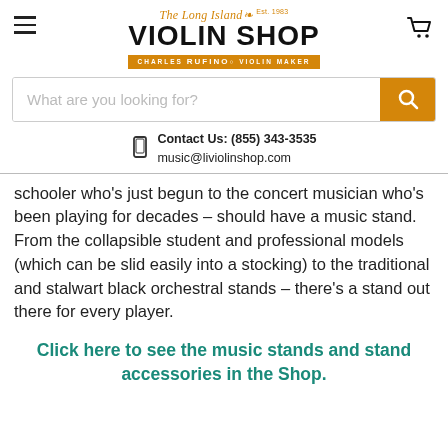[Figure (logo): The Long Island Violin Shop logo with Charles Rufino Violin Maker tagline, Est. 1983]
What are you looking for?
Contact Us: (855) 343-3535
music@liviolinshop.com
schooler who's just begun to the concert musician who's been playing for decades – should have a music stand. From the collapsible student and professional models (which can be slid easily into a stocking) to the traditional and stalwart black orchestral stands – there's a stand out there for every player.
Click here to see the music stands and stand accessories in the Shop.